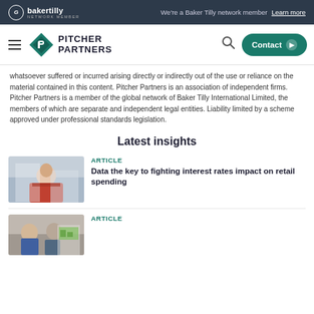Baker Tilly network member — We're a Baker Tilly network member. Learn more
[Figure (logo): Pitcher Partners logo with diamond icon in navigation bar]
whatsoever suffered or incurred arising directly or indirectly out of the use or reliance on the material contained in this content. Pitcher Partners is an association of independent firms. Pitcher Partners is a member of the global network of Baker Tilly International Limited, the members of which are separate and independent legal entities. Liability limited by a scheme approved under professional standards legislation.
Latest insights
[Figure (photo): Woman in red jacket working on laptop in bright office]
Article
Data the key to fighting interest rates impact on retail spending
[Figure (photo): Two people looking at charts or data]
Article